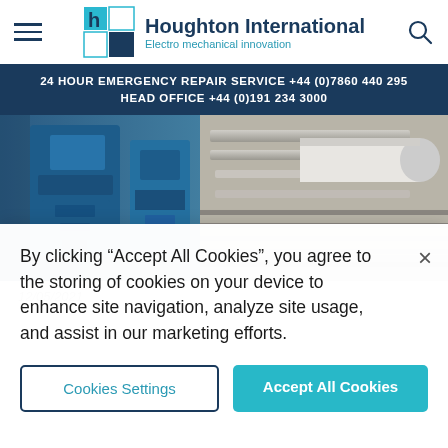[Figure (logo): Houghton International logo with blue 'H' grid icon]
Houghton International — Electro mechanical innovation | 24 HOUR EMERGENCY REPAIR SERVICE +44 (0)7860 440 295 | HEAD OFFICE +44 (0)191 234 3000
[Figure (photo): Industrial electro-mechanical machinery with blue motor and white roller]
12/05/2021
By clicking “Accept All Cookies”, you agree to the storing of cookies on your device to enhance site navigation, analyze site usage, and assist in our marketing efforts.